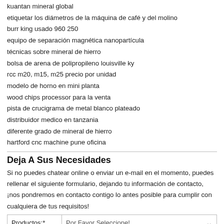kuantan mineral global
etiquetar los diámetros de la máquina de café y del molino
burr king usado 960 250
equipo de separación magnética nanopartícula
técnicas sobre mineral de hierro
bolsa de arena de polipropileno louisville ky
rcc m20, m15, m25 precio por unidad
modelo de horno en mini planta
wood chips processor para la venta
pista de crucigrama de metal blanco plateado
distribuidor medico en tanzania
diferente grado de mineral de hierro
hartford cnc machine pune oficina
Deja A Sus Necesidades
Si no puedes chatear online o enviar un e-mail en el momento, puedes rellenar el siguiente formulario, dejando tu información de contacto, ¡nos pondremos en contacto contigo lo antes posible para cumplir con cualquiera de tus requisitos!
| Productos:* | Por Favor Seleccione! |
| --- | --- |